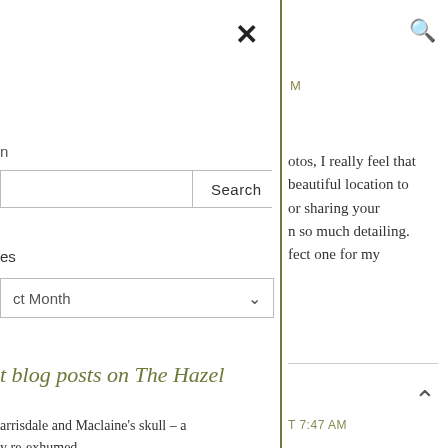[Figure (screenshot): Blog website UI screenshot showing a search overlay/sidebar on the left with close (X) button, a search input bar with Search button, a categories dropdown showing 'ct Month', and a section header reading 't blog posts on The Hazel'. A right panel separated by an olive green vertical line shows partial article text about photos and a beautiful location, a search icon, 'M' label, a horizontal rule, an up caret arrow, a timestamp, and partial blog post title about Barrisdale and Maclaine's skull.]
n
Search
es
ct Month
t blog posts on The Hazel
arrisdale and Maclaine's skull – a
y re-exhumed
otos, I really feel that beautiful location to or sharing your n so much detailing. fect one for my
M
T 7:47 AM